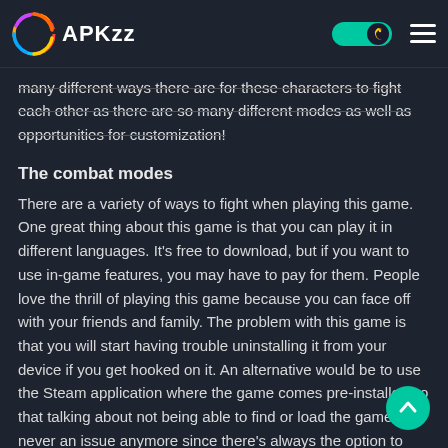APKzz
many different ways there are for these characters to fight each other as there are so many different modes as well as opportunities for customization!
The combat modes
There are a variety of ways to fight when playing this game. One great thing about this game is that you can play it in different languages. It's free to download, but if you want to use in-game features, you may have to pay for them. People love the thrill of playing this game because you can face off with your friends and family. The problem with this game is that you will start having trouble uninstalling it from your device if you get hooked on it. An alternative would be to use the Steam application where the game comes pre-installed so that talking about not being able to find or load the game is never an issue anymore since there's always the option to just